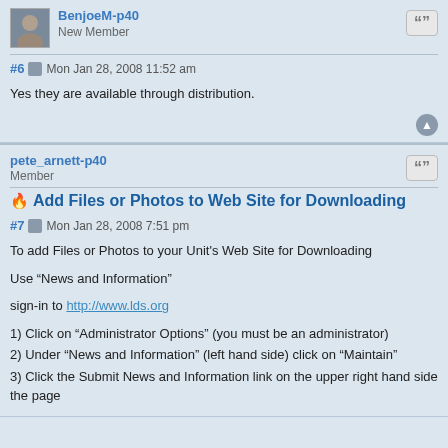BenjoeM-p40
New Member
#6  Mon Jan 28, 2008 11:52 am
Yes they are available through distribution.
pete_arnett-p40
Member
Add Files or Photos to Web Site for Downloading
#7  Mon Jan 28, 2008 7:51 pm
To add Files or Photos to your Unit's Web Site for Downloading

Use “News and Information”

sign-in to http://www.lds.org

1) Click on “Administrator Options” (you must be an administrator)
2) Under “News and Information” (left hand side) click on “Maintain”
3) Click the Submit News and Information link on the upper right hand side the page